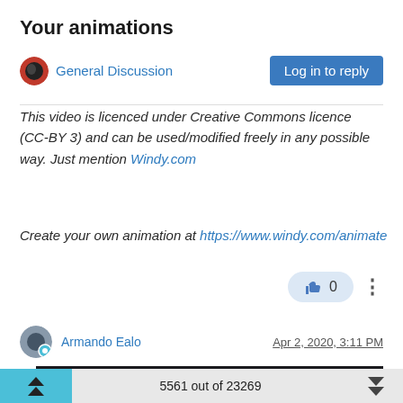Your animations
General Discussion
Log in to reply
This video is licenced under Creative Commons licence (CC-BY 3) and can be used/modified freely in any possible way. Just mention Windy.com
Create your own animation at https://www.windy.com/animate
0
Armando Ealo
Apr 2, 2020, 3:11 PM
[Figure (screenshot): Dark video thumbnail/player area]
5561 out of 23269